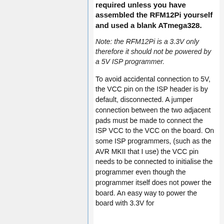required unless you have assembled the RFM12Pi yourself and used a blank ATmega328.
Note: the RFM12Pi is a 3.3V only therefore it should not be powered by a 5V ISP programmer.
To avoid accidental connection to 5V, the VCC pin on the ISP header is by default, disconnected. A jumper connection between the two adjacent pads must be made to connect the ISP VCC to the VCC on the board. On some ISP programmers, (such as the AVR MKII that I use) the VCC pin needs to be connected to initialise the programmer even though the programmer itself does not power the board. An easy way to power the board with 3.3V for